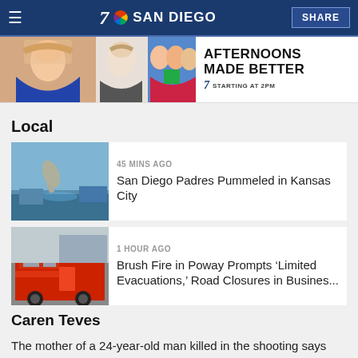7 SAN DIEGO | SHARE
[Figure (photo): NBC 7 San Diego advertisement banner showing TV anchors with text 'AFTERNOONS MADE BETTER - 7 STARTING AT 2PM']
Local
[Figure (photo): San Diego Padres baseball player batting at a game]
45 MINS AGO
San Diego Padres Pummeled in Kansas City
[Figure (photo): Red fire truck at a scene]
1 HOUR AGO
Brush Fire in Poway Prompts ‘Limited Evacuations,’ Road Closures in Busines...
Caren Teves
The mother of a 24-year-old man killed in the shooting says